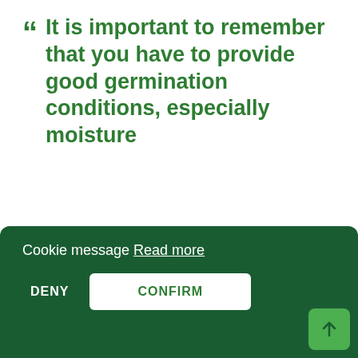“ It is important to remember that you have to provide good germination conditions, especially moisture
Therefore, water your lawn daily during a dry spell. Make sure grass seed is damp and does not dry out. Once the germination process has started – lack of moisture will kill the seed. Reseeded patches should be minded for at least two weeks,
Cookie message Read more
DENY
CONFIRM